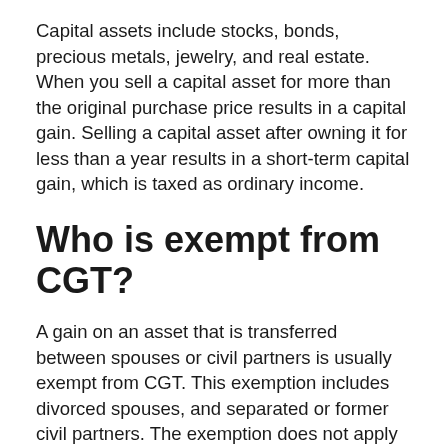Capital assets include stocks, bonds, precious metals, jewelry, and real estate. When you sell a capital asset for more than the original purchase price results in a capital gain. Selling a capital asset after owning it for less than a year results in a short-term capital gain, which is taxed as ordinary income.
Who is exempt from CGT?
A gain on an asset that is transferred between spouses or civil partners is usually exempt from CGT. This exemption includes divorced spouses, and separated or former civil partners. The exemption does not apply where you transfer: trading stock of a